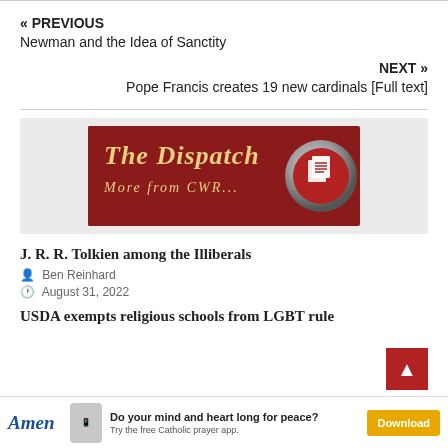« PREVIOUS
Newman and the Idea of Sanctity
NEXT »
Pope Francis creates 19 new cardinals [Full text]
[Figure (logo): The Dispatch - More from CWR... banner with red background and document icon]
J. R. R. Tolkien among the Illiberals
Ben Reinhard
August 31, 2022
USDA exempts religious schools from LGBT rule
[Figure (advertisement): Amen app advertisement - Do your mind and heart long for peace? Try the free Catholic prayer app. Download button.]